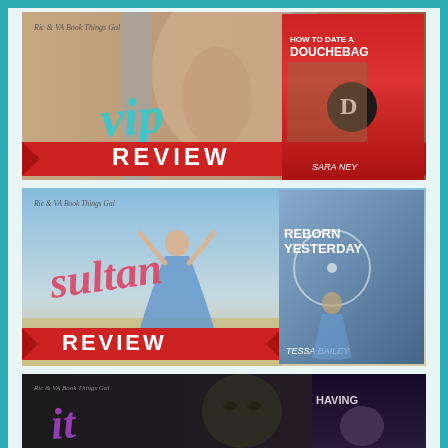[Figure (illustration): VIP Review banner image for 'How to Date a Douchebag' by Sara Ney. Shows shirtless man on left, book cover on right, with teal cursive 'vip' text and red 'REVIEW' banner. Tagged 'Ric & VA Book Things Gal'.]
[Figure (illustration): Sultan Review banner image for 'Reborn Yesterday' by Tessa Bailey. Shows woman in blue dress arms raised on left, book cover on right, with pink cursive 'sultan' and white 'REVIEW' text. Tagged 'Ric & VA Book Things Gal'.]
[Figure (illustration): Third review banner image partially visible at bottom. Dark themed, shows a man's face and purple cursive text overlaid, another book cover partially visible on right. Tagged 'Ric & VA Book Things Gal'.]